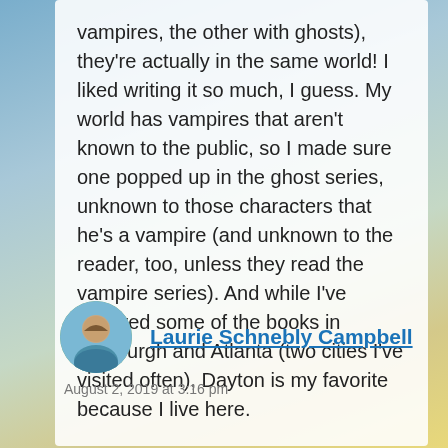vampires, the other with ghosts), they're actually in the same world! I liked writing it so much, I guess. My world has vampires that aren't known to the public, so I made sure one popped up in the ghost series, unknown to those characters that he's a vampire (and unknown to the reader, too, unless they read the vampire series). And while I've featured some of the books in Pittsburgh and Atlanta (two cities I've visited often), Dayton is my favorite because I live here.
Laurie Schnebly Campbell
August 2, 2019 at 3:16 pm